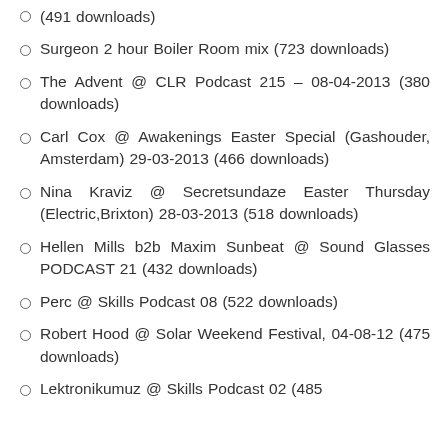(491 downloads)
Surgeon 2 hour Boiler Room mix (723 downloads)
The Advent @ CLR Podcast 215 – 08-04-2013 (380 downloads)
Carl Cox @ Awakenings Easter Special (Gashouder, Amsterdam) 29-03-2013 (466 downloads)
Nina Kraviz @ Secretsundaze Easter Thursday (Electric,Brixton) 28-03-2013 (518 downloads)
Hellen Mills b2b Maxim Sunbeat @ Sound Glasses PODCAST 21 (432 downloads)
Perc @ Skills Podcast 08 (522 downloads)
Robert Hood @ Solar Weekend Festival, 04-08-12 (475 downloads)
Lektronikumuz @ Skills Podcast 02 (485